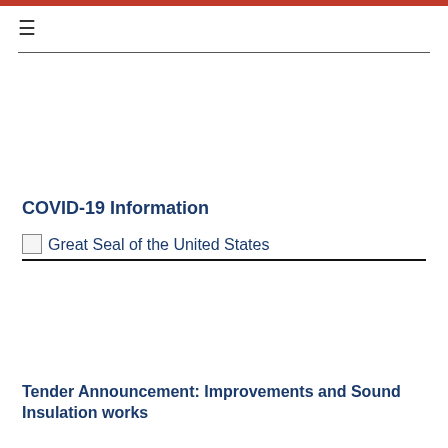≡
COVID-19 Information
[Figure (other): Great Seal of the United States placeholder image with text label 'Great Seal of the United States']
Tender Announcement: Improvements and Sound Insulation works